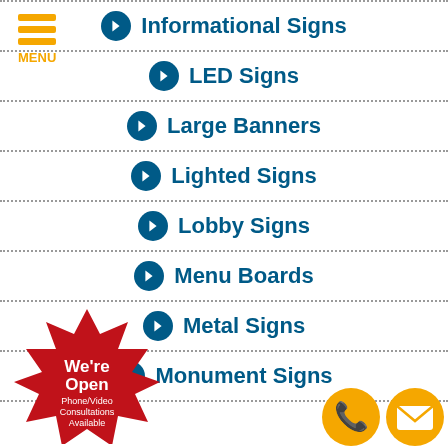[Figure (logo): Hamburger menu icon with three orange horizontal bars and MENU text]
Informational Signs
LED Signs
Large Banners
Lighted Signs
Lobby Signs
Menu Boards
Metal Signs
Monument Signs
[Figure (illustration): Red starburst badge with text: We're Open Phone/Video Consultations Available]
[Figure (illustration): Orange circle with phone handset icon and orange circle with envelope icon]